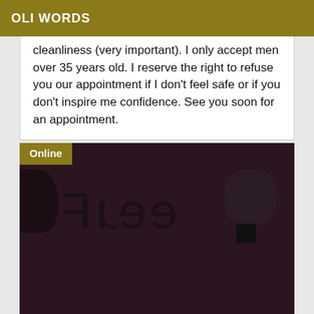OLI WORDS
cleanliness (very important). I only accept men over 35 years old. I reserve the right to refuse you our appointment if I don't feel safe or if you don't inspire me confidence. See you soon for an appointment.
[Figure (photo): Dark background image with mirrored/reversed text reading 'Free' and other partially visible text. An 'Online' badge appears in the top-left corner of the image.]